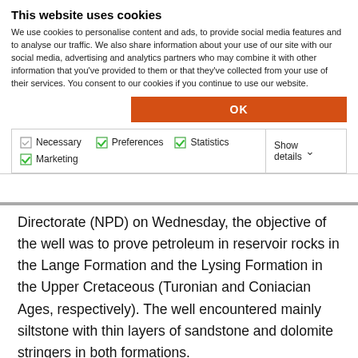This website uses cookies
We use cookies to personalise content and ads, to provide social media features and to analyse our traffic. We also share information about your use of our site with our social media, advertising and analytics partners who may combine it with other information that you've provided to them or that they've collected from your use of their services. You consent to our cookies if you continue to use our website.
OK
Necessary  Preferences  Statistics  Marketing  Show details
Directorate (NPD) on Wednesday, the objective of the well was to prove petroleum in reservoir rocks in the Lange Formation and the Lysing Formation in the Upper Cretaceous (Turonian and Coniacian Ages, respectively). The well encountered mainly siltstone with thin layers of sandstone and dolomite stringers in both formations.